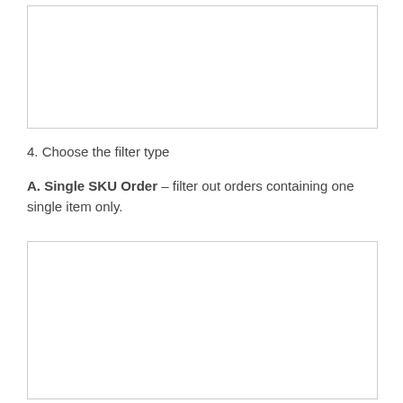[Figure (screenshot): A screenshot placeholder box (white rectangle with border) at the top of the page]
4. Choose the filter type
A. Single SKU Order – filter out orders containing one single item only.
[Figure (screenshot): A screenshot placeholder box (white rectangle with border) at the bottom of the page]